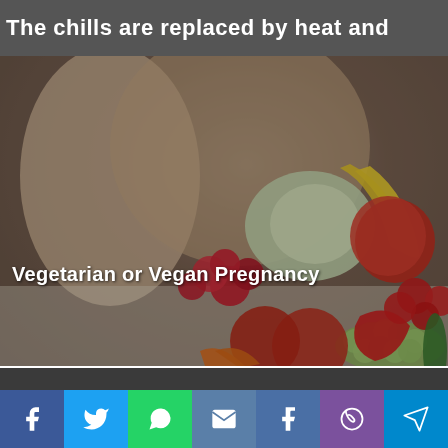The chills are replaced by heat and
[Figure (photo): Pregnant woman holding a large assortment of fresh fruits and vegetables including radishes, grapes, apples, tomatoes, carrots, peppers, cabbage, bananas, and cucumber. Overlay text reads 'Vegetarian or Vegan Pregnancy'.]
Vegetarian or Vegan Pregnancy
About Us
[Figure (infographic): Social media icon bar with Facebook (blue), Twitter (light blue), WhatsApp (green), Email (blue-grey), Tumblr (dark blue), Viber (purple), Telegram (cyan) icons.]